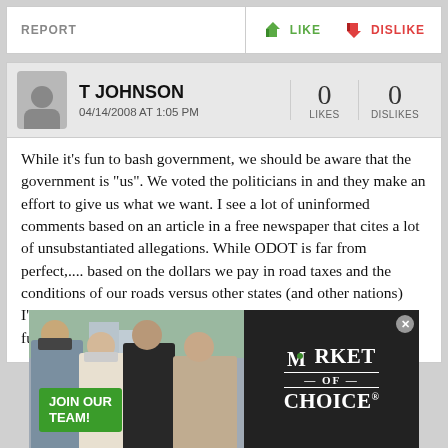REPORT    LIKE    DISLIKE
T JOHNSON
04/14/2008 AT 1:05 PM
0 LIKES   0 DISLIKES
While it's fun to bash government, we should be aware that the government is "us". We voted the politicians in and they make an effort to give us what we want. I see a lot of uninformed comments based on an article in a free newspaper that cites a lot of unsubstantiated allegations. While ODOT is far from perfect,.... based on the dollars we pay in road taxes and the conditions of our roads versus other states (and other nations) I've driven in, we could do a lot worse. Conspiracy theorys are fun but we shouldn't get too carried away unless there is
[Figure (photo): Advertisement banner for Market of Choice showing staff team photo with 'JOIN OUR TEAM!' green button overlay and Market of Choice logo on dark background]